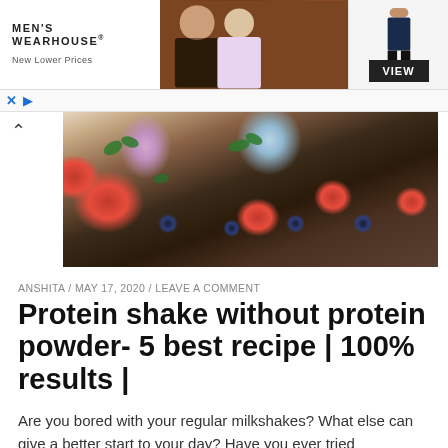[Figure (screenshot): Men's Wearhouse advertisement banner with couple in formal wear and suit figure with VIEW button]
[Figure (photo): Hero photo of colorful protein shakes with strawberries and blueberries scattered on a dark surface]
ANSHITA / MAY 17, 2020 / LEAVE A COMMENT
Protein shake without protein powder- 5 best recipe | 100% results |
Are you bored with your regular milkshakes? What else can give a better start to your day? Have you ever tried